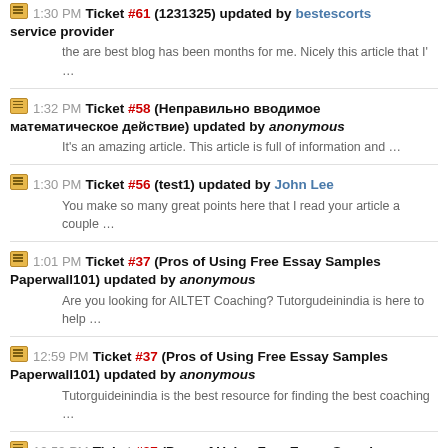1:30 PM Ticket #61 (1231325) updated by bestescorts service provider — the are best blog has been months for me. Nicely this article that I' …
1:32 PM Ticket #58 (Неправильно вводимое математическое действие) updated by anonymous — It's an amazing article. This article is full of information and …
1:30 PM Ticket #56 (test1) updated by John Lee — You make so many great points here that I read your article a couple …
1:01 PM Ticket #37 (Pros of Using Free Essay Samples Paperwall101) updated by anonymous — Are you looking for AILTET Coaching? Tutorgudeinindia is here to help …
12:59 PM Ticket #37 (Pros of Using Free Essay Samples Paperwall101) updated by anonymous — Tutorguideinindia is the best resource for finding the best coaching …
12:59 PM Ticket #37 (Pros of Using Free Essay Samples